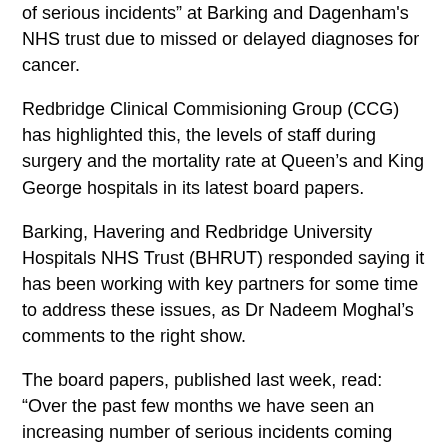of serious incidents at Barking and Dagenham's NHS trust due to missed or delayed diagnoses for cancer.
Redbridge Clinical Commisioning Group (CCG) has highlighted this, the levels of staff during surgery and the mortality rate at Queen's and King George hospitals in its latest board papers.
Barking, Havering and Redbridge University Hospitals NHS Trust (BHRUT) responded saying it has been working with key partners for some time to address these issues, as Dr Nadeem Moghal's comments to the right show.
The board papers, published last week, read: “Over the past few months we have seen an increasing number of serious incidents coming through specifically related to missed or delayed diagnosis for cancer.”